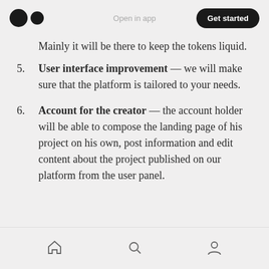Medium logo | Open in app | Get started
Mainly it will be there to keep the tokens liquid.
5. User interface improvement — we will make sure that the platform is tailored to your needs.
6. Account for the creator — the account holder will be able to compose the landing page of his project on his own, post information and edit content about the project published on our platform from the user panel.
Home | Search | Profile